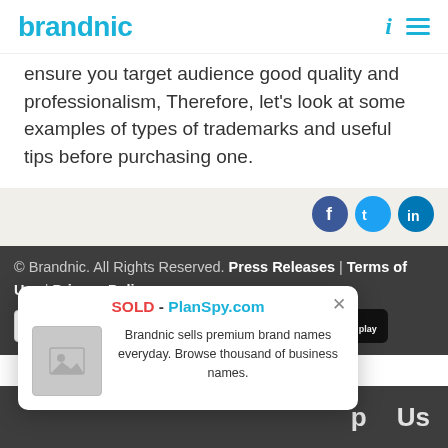brandnic
ensure you target audience good quality and professionalism, Therefore, let's look at some examples of types of trademarks and useful tips before purchasing one.
[Figure (illustration): Social media share buttons: Facebook, Twitter, LinkedIn]
© Brandnic. All Rights Reserved. Press Releases | Terms of Use | Privacy Policy
[Figure (illustration): Payment method icons: PayPal, VISA, MasterCard, Discover, American Express, Google Play badge]
[Figure (illustration): Popup notification: SOLD - PlanSpy.com. Brandnic sells premium brand names everyday. Browse thousand of business names.]